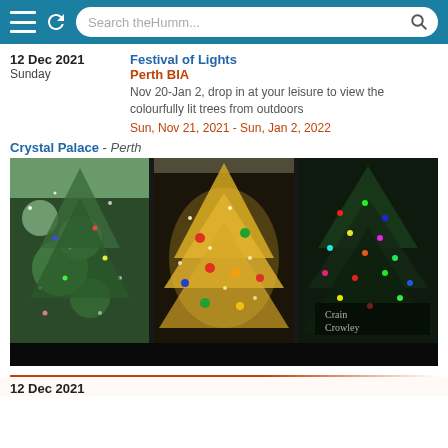[Figure (screenshot): Browser navigation bar with menu icon, reload icon, and search box showing 'Search theHumm...' placeholder on teal background]
12 Dec 2021
Sunday
Festival of Lights
Perth BIA
Nov 20-Jan 2, drop in at your leisure to view the colourfully lit trees from outdoors
Sun, Nov 21, 2021 - Sun, Jan 2, 2022
Crystal Palace - Perth
[Figure (photo): Three-panel photo of decorated Christmas trees with colourful lights inside Crystal Palace, Perth. Left panel shows green-lit trees in a corridor, center panel shows a large golden-lit Christmas tree, right panel shows a dark tree with multicoloured lights and a sign reading 'Crain Crowley'.]
12 Dec 2021